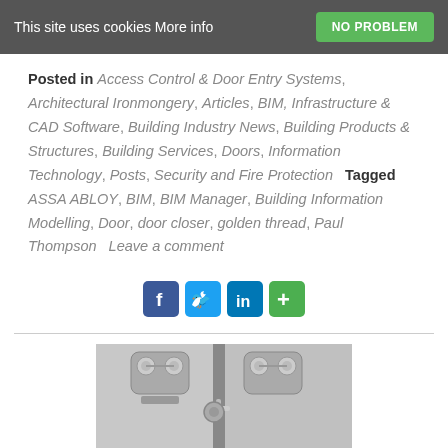This site uses cookies More info   NO PROBLEM
Posted in Access Control & Door Entry Systems, Architectural Ironmongery, Articles, BIM, Infrastructure & CAD Software, Building Industry News, Building Products & Structures, Building Services, Doors, Information Technology, Posts, Security and Fire Protection   Tagged ASSA ABLOY, BIM, BIM Manager, Building Information Modelling, Door, door closer, golden thread, Paul Thompson   Leave a comment
[Figure (other): Social sharing icons: Facebook, Twitter, LinkedIn, and a plus/more button]
[Figure (photo): Black and white photo of a door closer hardware mechanism on a door]